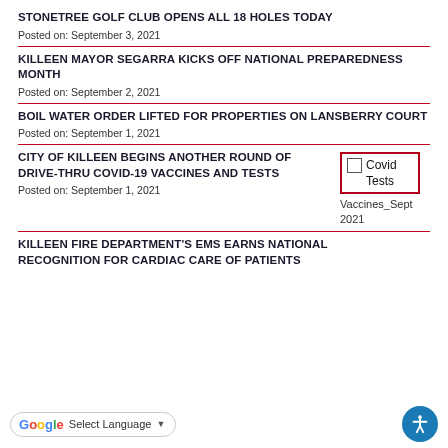STONETREE GOLF CLUB OPENS ALL 18 HOLES TODAY
Posted on: September 3, 2021
KILLEEN MAYOR SEGARRA KICKS OFF NATIONAL PREPAREDNESS MONTH
Posted on: September 2, 2021
BOIL WATER ORDER LIFTED FOR PROPERTIES ON LANSBERRY COURT
Posted on: September 1, 2021
CITY OF KILLEEN BEGINS ANOTHER ROUND OF DRIVE-THRU COVID-19 VACCINES AND TESTS
Posted on: September 1, 2021
[Figure (other): Checkbox UI element with Covid Tests label and Vaccines_Sept 2021 text]
KILLEEN FIRE DEPARTMENT'S EMS EARNS NATIONAL RECOGNITION FOR CARDIAC CARE OF PATIENTS
Select Language